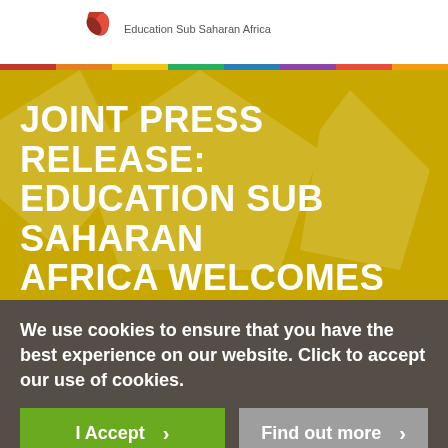Education Sub Saharan Africa
JOINT PRESS RELEASE: EDUCATION SUB SAHARAN AFRICA WELCOMES PARTNERSHIP WITH
We use cookies to ensure that you have the best experience on our website. Click to accept our use of cookies.
I Accept
Find out more